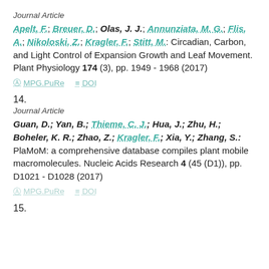Journal Article
Apelt, F.; Breuer, D.; Olas, J. J.; Annunziata, M. G.; Flis, A.; Nikoloski, Z.; Kragler, F.; Stitt, M.: Circadian, Carbon, and Light Control of Expansion Growth and Leaf Movement. Plant Physiology 174 (3), pp. 1949 - 1968 (2017)
MPG.PuRe   DOI
14.
Journal Article
Guan, D.; Yan, B.; Thieme, C. J.; Hua, J.; Zhu, H.; Boheler, K. R.; Zhao, Z.; Kragler, F.; Xia, Y.; Zhang, S.: PlaMoM: a comprehensive database compiles plant mobile macromolecules. Nucleic Acids Research 4 (45 (D1)), pp. D1021 - D1028 (2017)
MPG.PuRe   DOI
15.